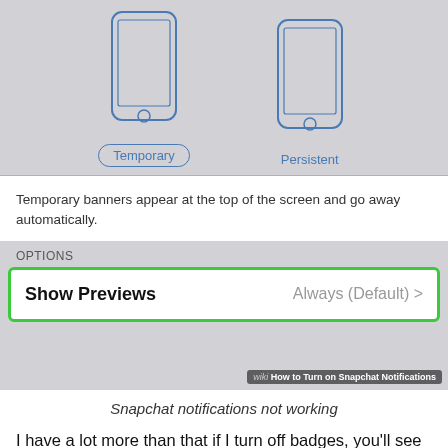[Figure (screenshot): iOS notification settings screen showing phone illustrations labeled 'Temporary' (with rounded pill border) and 'Persistent', a description 'Temporary banners appear at the top of the screen and go away automatically.', an OPTIONS section, and a 'Show Previews' row showing 'Always (Default) >' highlighted with a green border. WikiHow watermark in bottom right.]
Snapchat notifications not working
I have a lot more than that if I turn off badges, you'll see that actually goes away. So you can keep that on if you want to not a big deal. But it is cool if you want to keep that